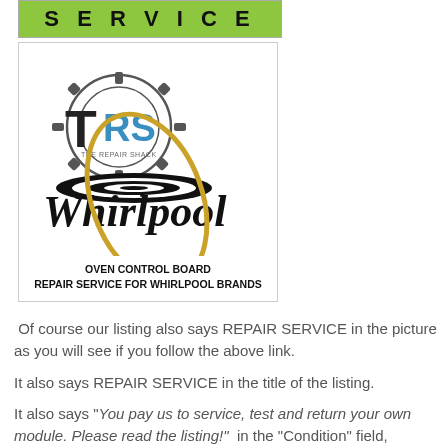[Figure (logo): Green SERVICE banner bar at top of product listing image]
[Figure (logo): White card with TRS (The Repair Shack) logo, Whirlpool logo with gold oval, and text: OVEN CONTROL BOARD REPAIR SERVICE FOR WHIRLPOOL BRANDS]
Of course our listing also says REPAIR SERVICE in the picture as you will see if you follow the above link.
It also says REPAIR SERVICE in the title of the listing.
It also says "You pay us to service, test and return your own module. Please read the listing!" in the "Condition" field,